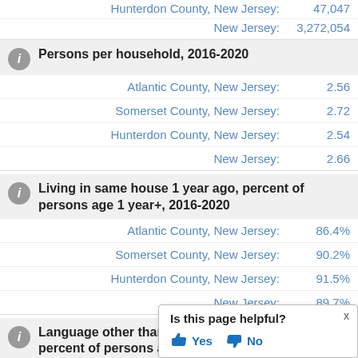Hunterdon County, New Jersey: 47,047
New Jersey: 3,272,054
Persons per household, 2016-2020
Atlantic County, New Jersey: 2.56
Somerset County, New Jersey: 2.72
Hunterdon County, New Jersey: 2.54
New Jersey: 2.66
Living in same house 1 year ago, percent of persons age 1 year+, 2016-2020
Atlantic County, New Jersey: 86.4%
Somerset County, New Jersey: 90.2%
Hunterdon County, New Jersey: 91.5%
New Jersey: 89.7%
Language other than English percent of persons age 5 year
Is this page helpful? Yes No